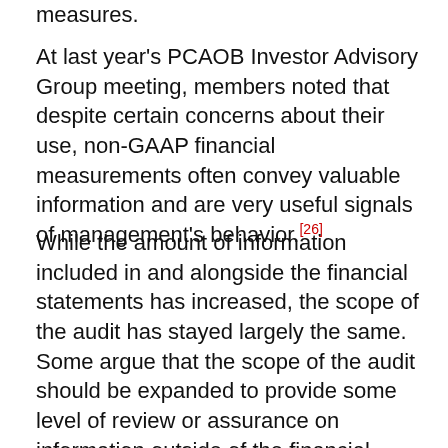measures.
At last year's PCAOB Investor Advisory Group meeting, members noted that despite certain concerns about their use, non-GAAP financial measurements often convey valuable information and are very useful signals of management's behavior.[26]
While the amount of information included in and alongside the financial statements has increased, the scope of the audit has stayed largely the same. Some argue that the scope of the audit should be expanded to provide some level of review or assurance on information outside of the financial statements, including non-GAAP financial measures, in order for the audit to remain relevant and for investors to be protected.[27]